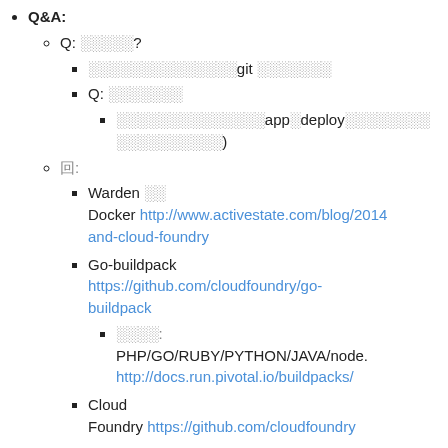Q&A:
Q: ░░░░░?
░░░░░░░░░░░░░░git ░░░░░░░
Q: ░░░░░░░
░░░░░░░░░░░░░░app░deploy░░░░░░░░░░░░░░░░░░░░)
回:
Warden ░░
Docker http://www.activestate.com/blog/2014 and-cloud-foundry
Go-buildpack https://github.com/cloudfoundry/go-buildpack
░░░░: PHP/GO/RUBY/PYTHON/JAVA/node. http://docs.run.pivotal.io/buildpacks/
Cloud Foundry https://github.com/cloudfoundry